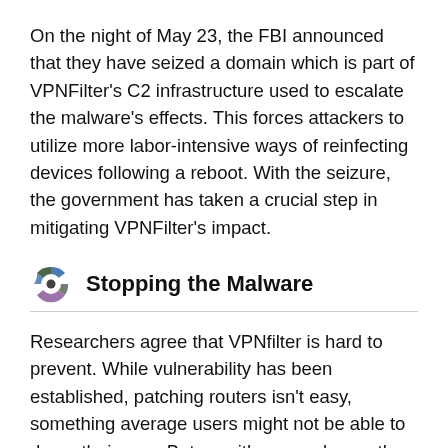On the night of May 23, the FBI announced that they have seized a domain which is part of VPNFilter's C2 infrastructure used to escalate the malware's effects. This forces attackers to utilize more labor-intensive ways of reinfecting devices following a reboot. With the seizure, the government has taken a crucial step in mitigating VPNFilter's impact.
Stopping the Malware
Researchers agree that VPNfilter is hard to prevent. While vulnerability has been established, patching routers isn't easy, something average users might not be able to do on their own. But as with any malware, the impact of VPNFilter can be mitigated, which is done by terminating the C2